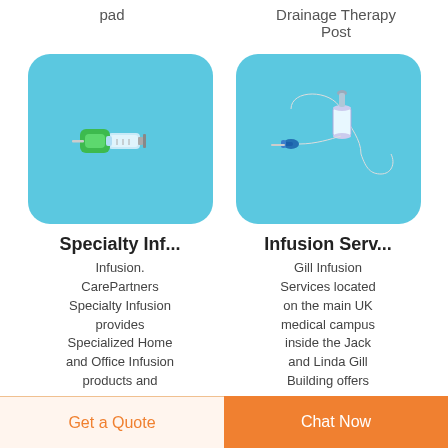pad
Drainage Therapy Post
[Figure (photo): A green-capped syringe/needle on a light blue background]
[Figure (photo): An IV infusion set with tubing on a light blue background]
Specialty Inf...
Infusion. CarePartners Specialty Infusion provides Specialized Home and Office Infusion products and
Infusion Serv...
Gill Infusion Services located on the main UK medical campus inside the Jack and Linda Gill Building offers
Get a Quote
Chat Now